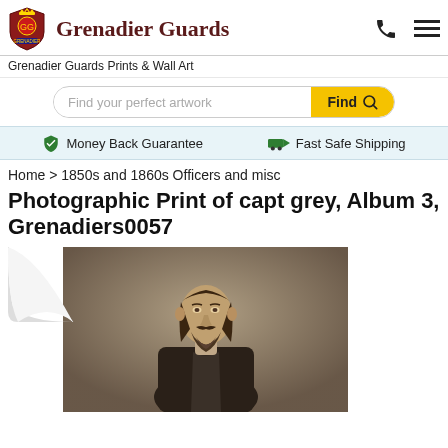Grenadier Guards
Grenadier Guards Prints & Wall Art
Find your perfect artwork
Money Back Guarantee   Fast Safe Shipping
Home > 1850s and 1860s Officers and misc
Photographic Print of capt grey, Album 3, Grenadiers0057
[Figure (photo): Black and white photographic portrait of a bearded man in dark Victorian-era clothing, likely a military officer in civilian dress, shown from waist up against a light background. Presented as a print on white paper with a page-curl effect in the lower left corner.]